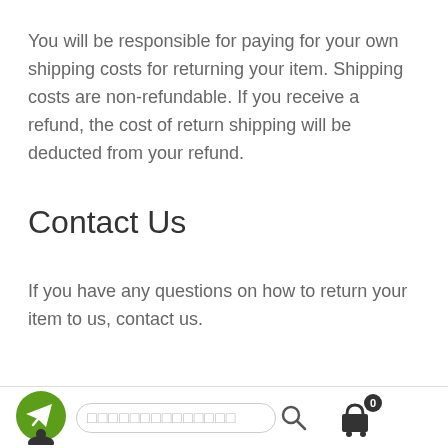You will be responsible for paying for your own shipping costs for returning your item. Shipping costs are non-refundable. If you receive a refund, the cost of return shipping will be deducted from your refund.
Contact Us
If you have any questions on how to return your item to us, contact us.
[Figure (other): Mobile app bottom navigation bar with a green circular Telegram-style send icon with a user silhouette, a rounded search input field with placeholder rectangles and a search magnifier icon, and a shopping cart icon with a badge showing 0.]